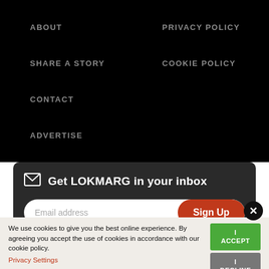ABOUT
PRIVACY POLICY
SHARE A STORY
COOKIE POLICY
CONTACT
ADVERTISE
Get LOKMARG in your inbox
Email address
Sign Up
We use cookies to give you the best online experience. By agreeing you accept the use of cookies in accordance with our cookie policy.
Privacy Settings
I ACCEPT
I DECLINE